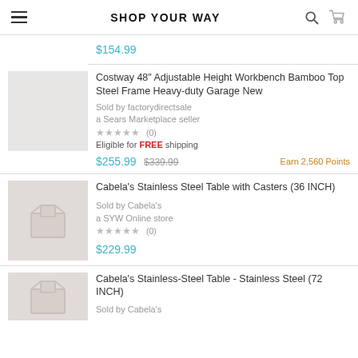SHOP YOUR WAY
$154.99
Costway 48" Adjustable Height Workbench Bamboo Top Steel Frame Heavy-duty Garage New
Sold by factorydirectsale a Sears Marketplace seller ★★★★★ (0)
Eligible for FREE shipping
$255.99  $339.99   Earn 2,560 Points
Cabela's Stainless Steel Table with Casters (36 INCH)
Sold by Cabela's a SYW Online store ★★★★★ (0)
$229.99
Cabela's Stainless-Steel Table - Stainless Steel (72 INCH)
Sold by Cabela's